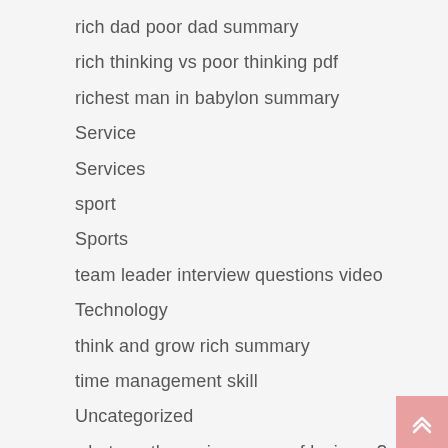rich dad poor dad summary
rich thinking vs poor thinking pdf
richest man in babylon summary
Service
Services
sport
Sports
team leader interview questions video
Technology
think and grow rich summary
time management skill
Uncategorized
what are the main causes of laziness?
what is copywriting skills
when to quit your job without another job